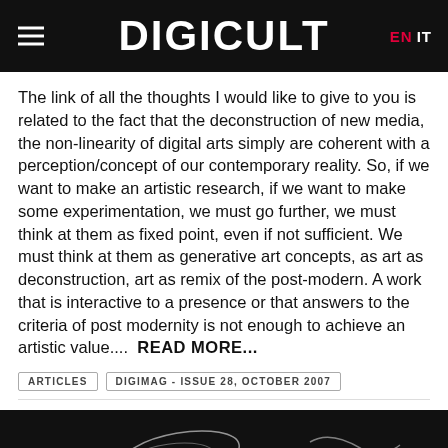DIGICULT  EN  IT
The link of all the thoughts I would like to give to you is related to the fact that the deconstruction of new media, the non-linearity of digital arts simply are coherent with a perception/concept of our contemporary reality. So, if we want to make an artistic research, if we want to make some experimentation, we must go further, we must think at them as fixed point, even if not sufficient. We must think at them as generative art concepts, as art as deconstruction, art as remix of the post-modern. A work that is interactive to a presence or that answers to the criteria of post modernity is not enough to achieve an artistic value....  READ MORE...
ARTICLES
DIGIMAG - ISSUE 28, OCTOBER 2007
[Figure (photo): Black and white image with cursive/handwritten text or signatures, partially visible at the bottom of the page]